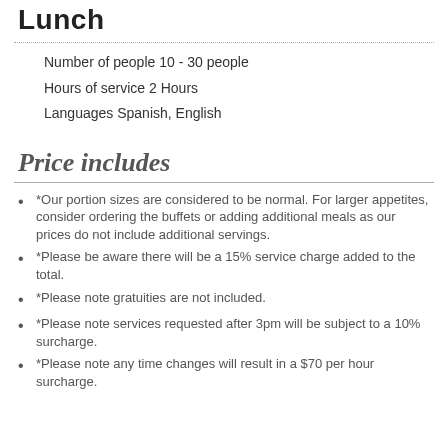Lunch
Number of people 10 - 30 people
Hours of service 2 Hours
Languages Spanish, English
Price includes
*Our portion sizes are considered to be normal. For larger appetites, consider ordering the buffets or adding additional meals as our prices do not include additional servings.
*Please be aware there will be a 15% service charge added to the total.
*Please note gratuities are not included.
*Please note services requested after 3pm will be subject to a 10% surcharge.
*Please note any time changes will result in a $70 per hour surcharge.